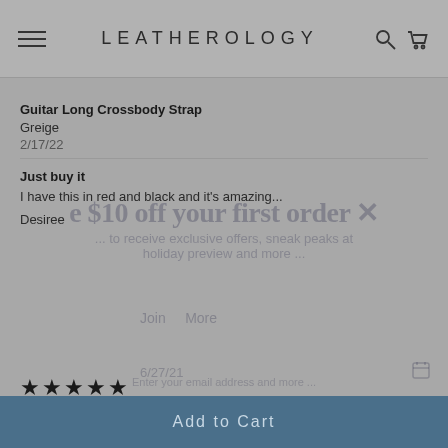LEATHEROLOGY
Guitar Long Crossbody Strap
Greige
2/17/22
Just buy it
I have this in red and black and it's amazing...
Desiree
★★★★★
Guitar Short Crossbody Strap
Black Onyx
6/27/21
Love the width and length!
Add to Cart